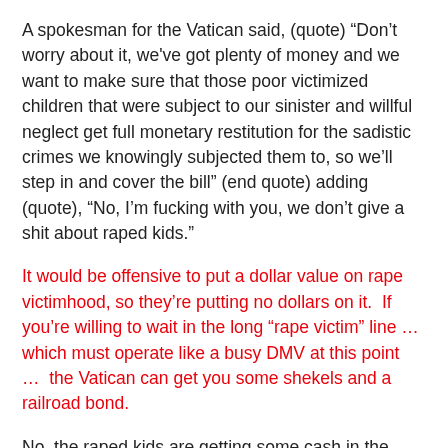A spokesman for the Vatican said, (quote) “Don’t worry about it, we've got plenty of money and we want to make sure that those poor victimized children that were subject to our sinister and willful neglect get full monetary restitution for the sadistic crimes we knowingly subjected them to, so we’ll step in and cover the bill” (end quote) adding (quote), “No, I’m fucking with you, we don’t give a shit about raped kids.”
It would be offensive to put a dollar value on rape victimhood, so they’re putting no dollars on it.  If you’re willing to wait in the long “rape victim” line … which must operate like a busy DMV at this point …  the Vatican can get you some shekels and a railroad bond.
No, the raped kids are getting some cash in the settlement.  As it turns out there is a dollar value on one’s